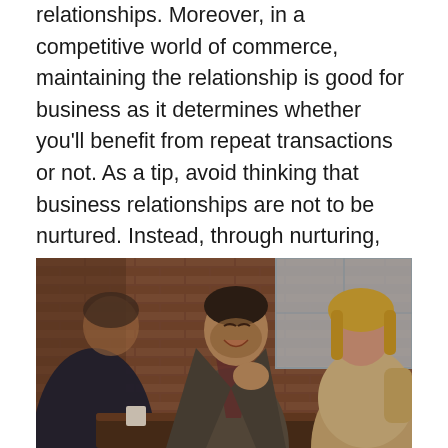relationships. Moreover, in a competitive world of commerce, maintaining the relationship is good for business as it determines whether you'll benefit from repeat transactions or not. As a tip, avoid thinking that business relationships are not to be nurtured. Instead, through nurturing, you increase the chances of maintaining a long-lasting business relationship with clients.
[Figure (photo): Three people sitting at a table in a cafe or restaurant with exposed brick wall background. A man in the center wearing a grey suit is laughing, leaning forward. A man in a dark suit is seen from behind on the left. A blonde woman in a beige outfit sits on the right. A window with natural light is visible in the background.]